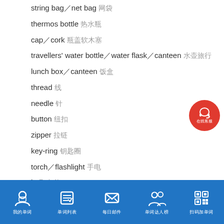string bag／net bag 网袋
thermos bottle 热水瓶
cap／cork 瓶盖软木塞
travellers' water bottle／water flask／canteen 水壶旅行
lunch box／canteen 饭盒
thread 线
needle 针
button 纽扣
zipper 拉链
key-ring 钥匙圈
torch／flashlight 手电
bulb 灯泡
battery 电池
lock 锁
watch／wrist watch 手表腕表
[Figure (infographic): Red circular online customer service button with headset icon and Chinese text 在线客服]
Bottom navigation bar with 5 icons and Chinese labels